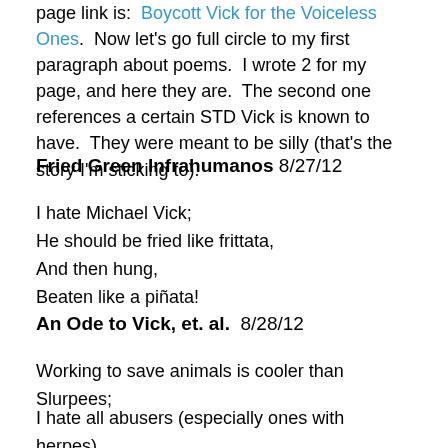page link is:  Boycott Vick for the Voiceless Ones.  Now let's go full circle to my first paragraph about poems.  I wrote 2 for my page, and here they are.  The second one references a certain STD Vick is known to have.  They were meant to be silly (that's the story I'm sticking to).
Fried Green Infrahumanos 8/27/12
I hate Michael Vick;
He should be fried like frittata,
And then hung,
Beaten like a piñata!
An Ode to Vick, et. al.  8/28/12
Working to save animals is cooler than Slurpees;
I hate all abusers (especially ones with herpes).